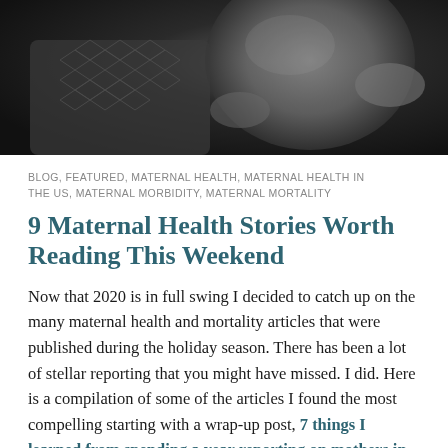[Figure (photo): Black and white photo of a pregnant woman lying down, showing her bare belly and patterned fabric clothing]
BLOG, FEATURED, MATERNAL HEALTH, MATERNAL HEALTH IN THE US, MATERNAL MORBIDITY, MATERNAL MORTALITY
9 Maternal Health Stories Worth Reading This Weekend
Now that 2020 is in full swing I decided to catch up on the many maternal health and mortality articles that were published during the holiday season. There has been a lot of stellar reporting that you might have missed. I did. Here is a compilation of some of the articles I found the most compelling starting with a wrap-up post, 7 things I learned from spending a year reporting on mothers in Alabama,  by Anna Claire Volle about the excellent